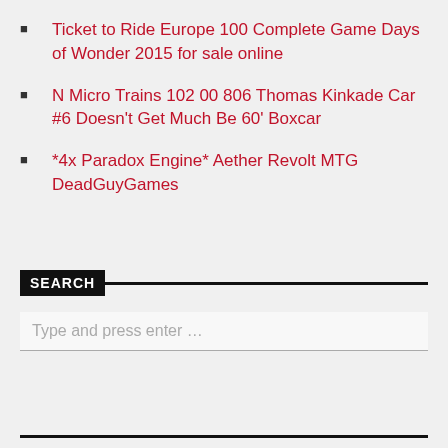Ticket to Ride Europe 100 Complete Game Days of Wonder 2015 for sale online
N Micro Trains 102 00 806 Thomas Kinkade Car #6 Doesn't Get Much Be 60' Boxcar
*4x Paradox Engine* Aether Revolt MTG DeadGuyGames
SEARCH
Type and press enter …